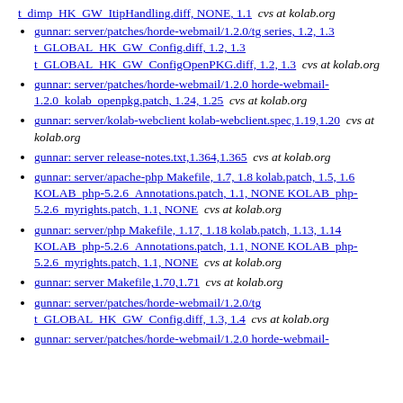t_dimp_HK_GW_ItipHandling.diff, NONE, 1.1  cvs at kolab.org
gunnar: server/patches/horde-webmail/1.2.0/tg series, 1.2, 1.3 t_GLOBAL_HK_GW_Config.diff, 1.2, 1.3 t_GLOBAL_HK_GW_ConfigOpenPKG.diff, 1.2, 1.3  cvs at kolab.org
gunnar: server/patches/horde-webmail/1.2.0 horde-webmail-1.2.0_kolab_openpkg.patch, 1.24, 1.25  cvs at kolab.org
gunnar: server/kolab-webclient kolab-webclient.spec,1.19,1.20  cvs at kolab.org
gunnar: server release-notes.txt,1.364,1.365  cvs at kolab.org
gunnar: server/apache-php Makefile, 1.7, 1.8 kolab.patch, 1.5, 1.6 KOLAB_php-5.2.6_Annotations.patch, 1.1, NONE KOLAB_php-5.2.6_myrights.patch, 1.1, NONE  cvs at kolab.org
gunnar: server/php Makefile, 1.17, 1.18 kolab.patch, 1.13, 1.14 KOLAB_php-5.2.6_Annotations.patch, 1.1, NONE KOLAB_php-5.2.6_myrights.patch, 1.1, NONE  cvs at kolab.org
gunnar: server Makefile,1.70,1.71  cvs at kolab.org
gunnar: server/patches/horde-webmail/1.2.0/tg t_GLOBAL_HK_GW_Config.diff, 1.3, 1.4  cvs at kolab.org
gunnar: server/patches/horde-webmail/1.2.0 horde-webmail-